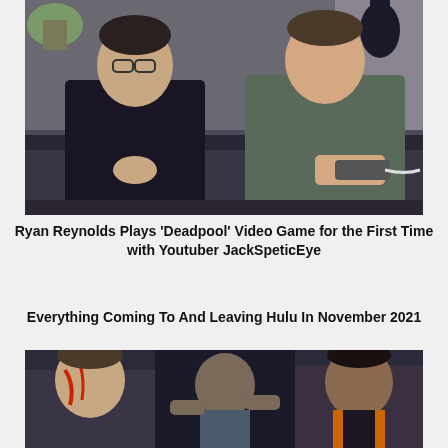[Figure (photo): Two men sitting on a couch, one wearing glasses and a dark shirt, the other holding a game controller wearing a grey shirt, in an indoor setting with plants and decor in background.]
Ryan Reynolds Plays ‘Deadpool’ Video Game for the First Time with Youtuber JackSpeticEye
Everything Coming To And Leaving Hulu In November 2021
[Figure (photo): Three men in an action scene, one with red-marked face on the left, one in the center in a fighting pose, and one on the right in an orange vest.]